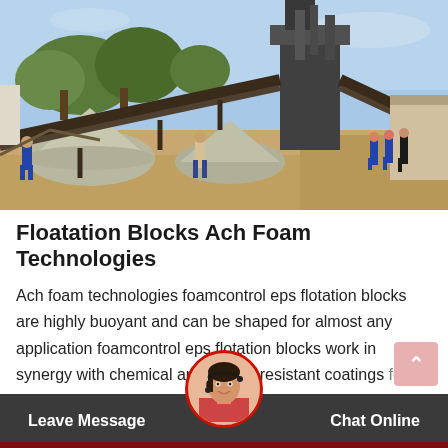[Figure (photo): Outdoor mining or quarry site with conveyor belts, industrial equipment, piles of crushed stone/gravel, and workers in hard hats and safety gear. Trees and sky visible in background.]
Floatation Blocks Ach Foam Technologies
Ach foam technologies foamcontrol eps flotation blocks are highly buoyant and can be shaped for almost any application foamcontrol eps flotation blocks work in synergy with chemical and impact resistant coatings for maximum service an...
Leave Message   Chat Online